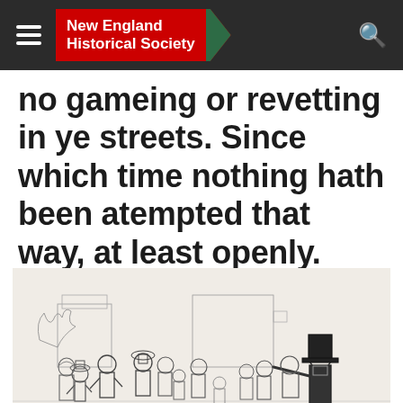New England Historical Society
no gameing or revetting in ye streets. Since which time nothing hath been atempted that way, at least openly.
[Figure (illustration): A historical black and white engraving depicting a Puritan authority figure (man in tall black hat and dark coat) gesturing/pointing at a group of colonists including men, women, and children standing before him, with colonial-era buildings in the background.]